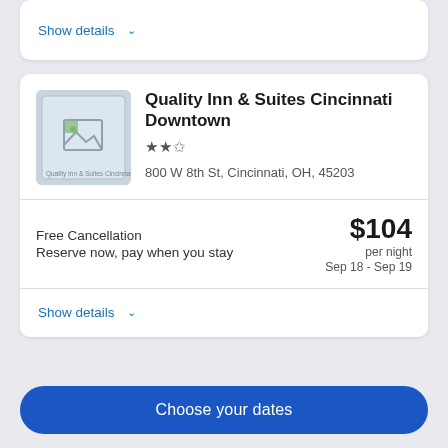Show details ∨
[Figure (photo): Hotel thumbnail image for Quality Inn & Suites Cincinnati Downtown (broken image placeholder)]
Quality Inn & Suites Cincinnati Downtown
★★½
800 W 8th St, Cincinnati, OH, 45203
Free Cancellation
Reserve now, pay when you stay
$104 per night
Sep 18 - Sep 19
Show details ∨
Choose your dates